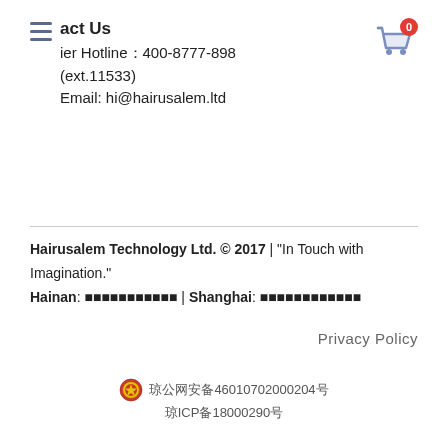act Us
Hotline：400-8777-898 (ext.11533)
Email: hi@hairusalem.ltd
Hairusalem Technology Ltd. © 2017 | "In Touch with Imagination."
Hainan: ██████████ | Shanghai: ████████████
Privacy Policy
琼公网安备46010702000204号
琼ICP备18000290号